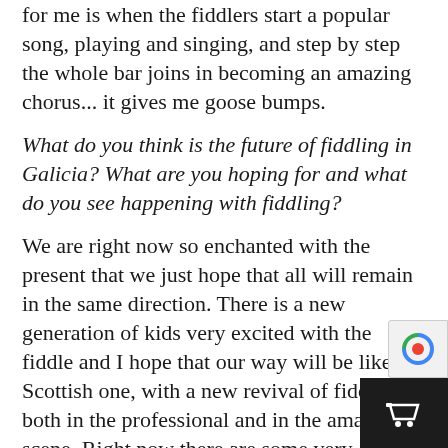for me is when the fiddlers start a popular song, playing and singing, and step by step the whole bar joins in becoming an amazing chorus... it gives me goose bumps.
What do you think is the future of fiddling in Galicia? What are you hoping for and what do you see happening with fiddling?
We are right now so enchanted with the present that we just hope that all will remain in the same direction. There is a new generation of kids very excited with the fiddle and I hope that our way will be like the Scottish one, with a new revival of fiddlers, both in the professional and in the amateur scene. Right now there are some very interesting fiddle recordings coming up soon by Felipe Rodicio, Begoña Riobó, I Juncal, Alfonso Merino, etc., and myself.